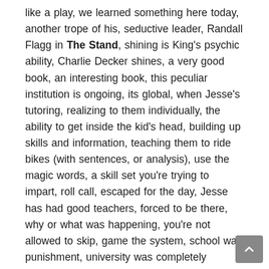like a play, we learned something here today, another trope of his, seductive leader, Randall Flagg in The Stand, shining is King's psychic ability, Charlie Decker shines, a very good book, an interesting book, this peculiar institution is ongoing, its global, when Jesse's tutoring, realizing to them individually, the ability to get inside the kid's head, building up skills and information, teaching them to ride bikes (with sentences, or analysis), use the magic words, a skill set you're trying to impart, roll call, escaped for the day, Jesse has had good teachers, forced to be there, why or what was happening, you're not allowed to skip, game the system, school was punishment, university was completely different, they take an exam at the beginning of the book, all the other kids are dressed down, you idiots, there's no test, in a more horrible environment, modelling what they're doing, you can't do that with a whole classroom full of kids, they don't know what they don't know, its impossible, a disaster, 35 kids in a class